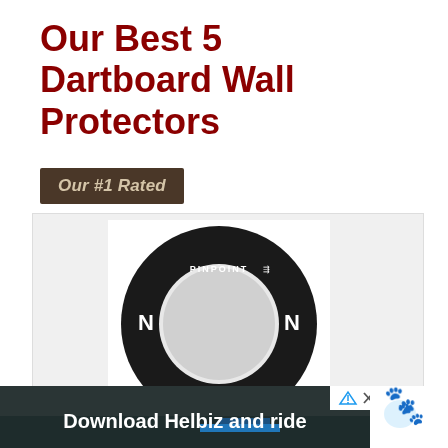Our Best 5 Dartboard Wall Protectors
[Figure (other): Badge graphic with dark brown background and italic text reading 'Our #1 Rated' in light/cream colored bold italic font]
[Figure (photo): Pinpoint foam dartboard surround ring - a black circular ring/donut shape on white background with 'PINPOINT' text at top and lightning bolt icons on left and right sides, center is open for dartboard mounting]
Pinpoint Foam Dartboard Surround Ring - EVA Reversible
[Figure (other): Advertisement banner: dark background with bicycle handlebar image, white bold text 'Download Helbiz and ride', with ad tag icons and close button on right]